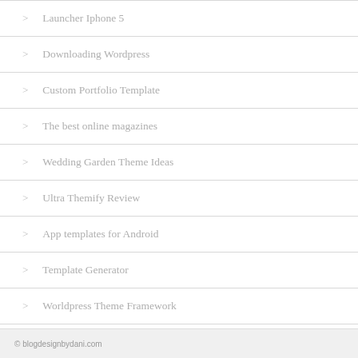Launcher Iphone 5
Downloading Wordpress
Custom Portfolio Template
The best online magazines
Wedding Garden Theme Ideas
Ultra Themify Review
App templates for Android
Template Generator
Worldpress Theme Framework
The best website with Wordpress
Create a website
Top Website Design Pages
Adobe Envato Post Effects
© blogdesignbydani.com